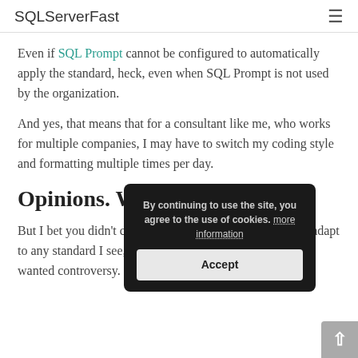SQLServerFast
Even if SQL Prompt cannot be configured to automatically apply the standard, heck, even when SQL Prompt is not used by the organization.
And yes, that means that for a consultant like me, who works for multiple companies, I may have to switch my coding style and formatting multiple times per day.
Opinions. We all have them.
But I bet you didn't come here just hear how I graciously adapt to any standard I see, no matter what that standard is. You wanted controversy.
[Figure (other): Cookie consent popup overlay on dark background reading: 'By continuing to use the site, you agree to the use of cookies. more information' with an Accept button.]